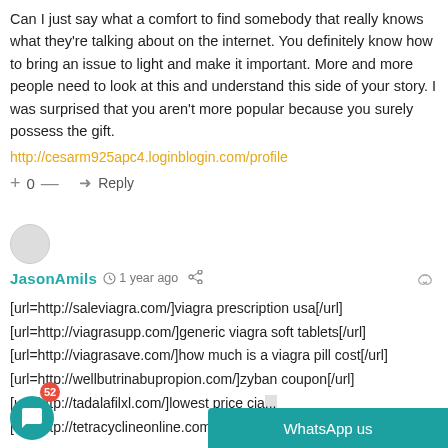Can I just say what a comfort to find somebody that really knows what they're talking about on the internet. You definitely know how to bring an issue to light and make it important. More and more people need to look at this and understand this side of your story. I was surprised that you aren't more popular because you surely possess the gift.
http://cesarm925apc4.loginblogin.com/profile
+ 0 — ➜ Reply
JasonAmils  1 year ago
[url=http://saleviagra.com/]viagra prescription usa[/url]
[url=http://viagrasupp.com/]generic viagra soft tablets[/url]
[url=http://viagrasave.com/]how much is a viagra pill cost[/url]
[url=http://wellbutrinabupropion.com/]zyban coupon[/url]
[url=http://tadalafilxl.com/]lowest price cia...
[url=http://tetracyclineonline.com/]can yo...